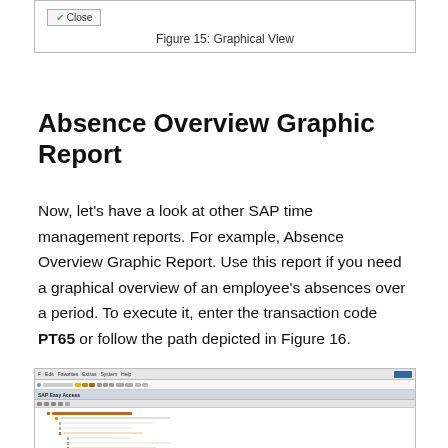[Figure (screenshot): SAP application screenshot showing a Close button, partial UI view at top of page]
Figure 15: Graphical View
Absence Overview Graphic Report
Now, let's have a look at other SAP time management reports. For example, Absence Overview Graphic Report. Use this report if you need a graphical overview of an employee's absences over a period. To execute it, enter the transaction code PT65 or follow the path depicted in Figure 16.
[Figure (screenshot): SAP Easy Access navigation tree screenshot showing menu hierarchy for SAP time management reports]